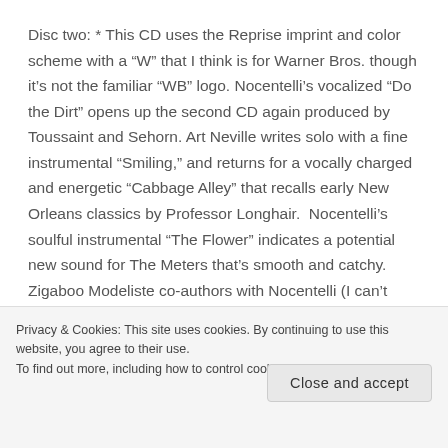Disc two:  * This CD uses the Reprise imprint and color scheme with a “W” that I think is for Warner Bros. though it’s not the familiar “WB” logo. Nocentelli’s vocalized “Do the Dirt” opens up the second CD again produced by Toussaint and Sehorn. Art Neville writes solo with a fine instrumental “Smiling,” and returns for a vocally charged and energetic “Cabbage Alley” that recalls early New Orleans classics by Professor Longhair.  Nocentelli’s soulful instrumental “The Flower” indicates a potential new sound for The Meters that’s smooth and catchy.  Zigaboo Modeliste co-authors with Nocentelli (I can’t make this up)
Privacy & Cookies: This site uses cookies. By continuing to use this website, you agree to their use.
To find out more, including how to control cookies, see here: Cookie Policy
Close and accept
anthems, “Hey Pocky A-Way” that was authored by the